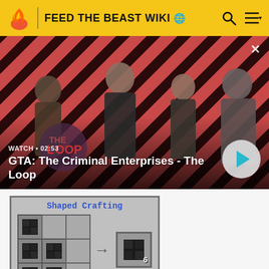FEED THE BEAST WIKI
[Figure (screenshot): GTA: The Criminal Enterprises - The Loop video banner with four characters on a red diagonal striped background, WATCH • 02:53 label, play button]
GTA: The Criminal Enterprises - The Loop
[Figure (screenshot): Minecraft Shaped Crafting grid showing dark blocks arranged in an L-shape pattern with arrow pointing to output block with count 6]